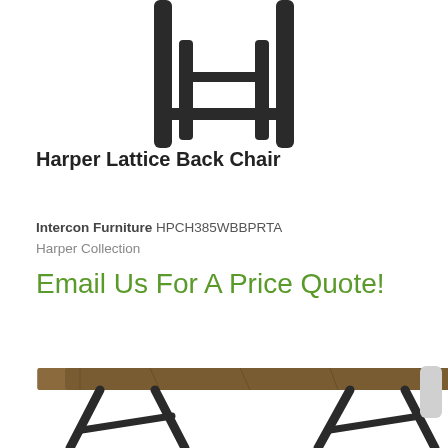[Figure (photo): Top portion of a bar stool chair with black legs visible against white background, cropped at top]
Harper Lattice Back Chair
Intercon Furniture HPCH385WBBPRTA
Harper Collection
Email Us For A Price Quote!
See Details
[Figure (photo): Bottom portion of a wooden bench with black legs, partially visible at bottom of page]